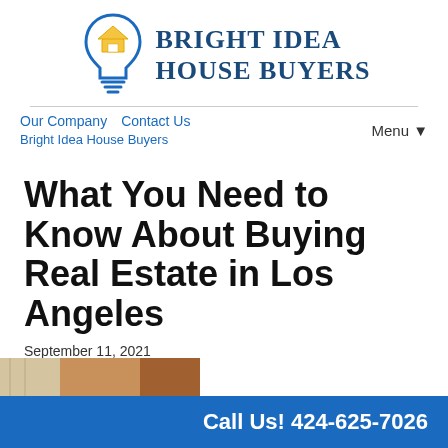[Figure (logo): Bright Idea House Buyers logo with lightbulb icon containing a house shape and company name]
Our Company   Contact Us   Bright Idea House Buyers   Menu ▼
What You Need to Know About Buying Real Estate in Los Angeles
September 11, 2021
By Brian
[Figure (photo): Partial photo of a building/real estate property]
Call Us! 424-625-7026